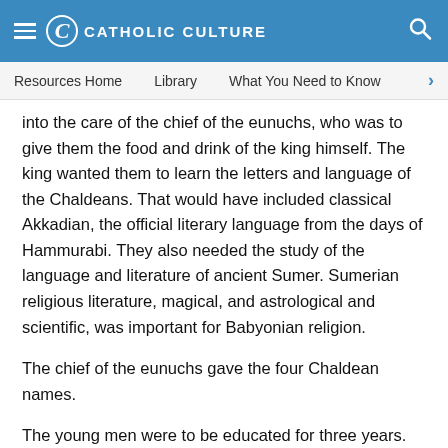CATHOLIC CULTURE
Resources Home   Library   What You Need to Know
into the care of the chief of the eunuchs, who was to give them the food and drink of the king himself. The king wanted them to learn the letters and language of the Chaldeans. That would have included classical Akkadian, the official literary language from the days of Hammurabi. They also needed the study of the language and literature of ancient Sumer. Sumerian religious literature, magical, and astrological and scientific, was important for Babyonian religion.
The chief of the eunuchs gave the four Chaldean names.
The young men were to be educated for three years. Yet soon, in the second year they will be called on to explain the king 's dream (chapter 2). There is more